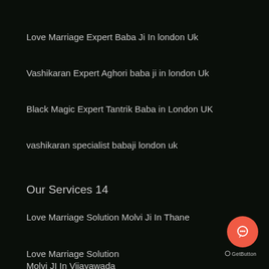Love Marriage Expert Baba Ji In london Uk
Vashikaran Expert Aghori baba ji in london Uk
Black Magic Expert Tantrik Baba in London UK
vashikaran specialist babaji london uk
Our Services 14
Love Marriage Solution Molvi Ji In Thane
Love Marriage Solution Molvi Ji In Varanasi
Love Marriage Solution Molvi JI In Vijayawada
Love Vashikaran Specialist Molvi Ji In Australia